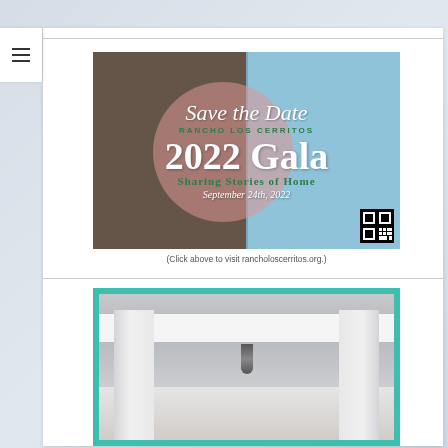[Figure (photo): Save the Date flyer for Rancho Los Cerritos 2022 Gala — Sharing Stories of Home, September 24th, 2022. Split image with indoor event setup on left and outdoor building on right, pink circular overlay with event text and QR code.]
(Click above to visit rancholoscerritos.org.)
[Figure (photo): Photo of a white classical porch with columns and a pendant light, framed with a teal/turquoise border.]